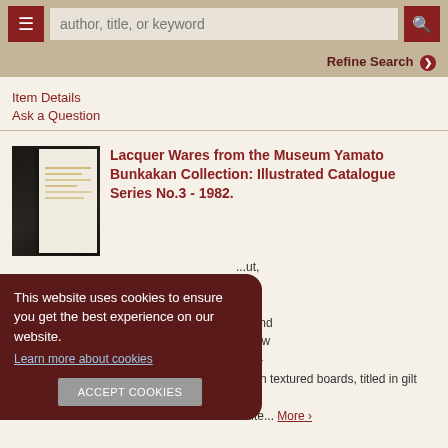author, title, or keyword | Refine Search
Item Details
Ask a Question
Lacquer Wares from the Museum Yamato Bunkakan Collection: Illustrated Catalogue Series No.3 - 1982.
[Figure (photo): Photo of a book showing white/cream pages with Japanese text in gold]
This website uses cookies to ensure you get the best experience on our website.
Learn more about cookies
ACCEPT COOKIES
...ut, s of rks. ge and Yellow grey- green textured boards, titled in gilt and white... More >